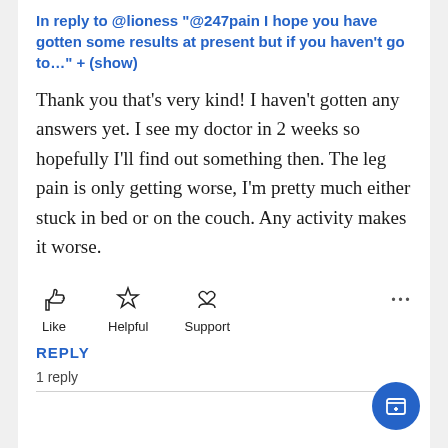In reply to @lioness "@247pain I hope you have gotten some results at present but if you haven't go to..." + (show)
Thank you that's very kind! I haven't gotten any answers yet. I see my doctor in 2 weeks so hopefully I'll find out something then. The leg pain is only getting worse, I'm pretty much either stuck in bed or on the couch. Any activity makes it worse.
[Figure (infographic): Action buttons: Like (thumbs up icon), Helpful (star icon), Support (heart-in-hands icon), and a three-dot menu on the right]
REPLY
1 reply